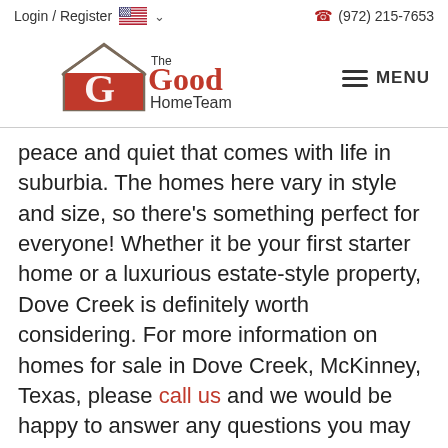Login / Register  🇺🇸 ∨    ☎ (972) 215-7653
[Figure (logo): The Good HomeTeam logo with red house and G letter]
peace and quiet that comes with life in suburbia. The homes here vary in style and size, so there's something perfect for everyone! Whether it be your first starter home or a luxurious estate-style property, Dove Creek is definitely worth considering. For more information on homes for sale in Dove Creek, McKinney, Texas, please call us and we would be happy to answer any questions you may have.
ther speak with a local Dove Creek, McKinney real estate agent on the phone